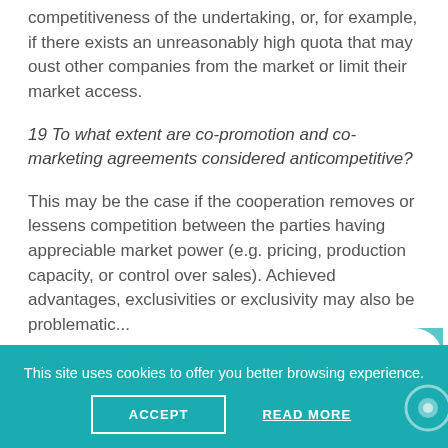competitiveness of the undertaking, or, for example, if there exists an unreasonably high quota that may oust other companies from the market or limit their market access.
19 To what extent are co-promotion and co-marketing agreements considered anticompetitive?
This may be the case if the cooperation removes or lessens competition between the parties having appreciable market power (e.g. pricing, production capacity, or control over sales). Achieved advantages, exclusivities or exclusivity may also be problematic...
This site uses cookies to offer you better browsing experience.